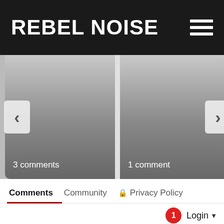REBEL NOISE
[Figure (screenshot): Carousel with two image panels showing gradient placeholders. Left panel has back arrow and shows '3 comments'. Right panel has forward arrow and shows '1 comment'.]
3 comments
1 comment
Comments  Community  Privacy Policy
1  Login
Favorite  Sort by Best
Start the discussion...